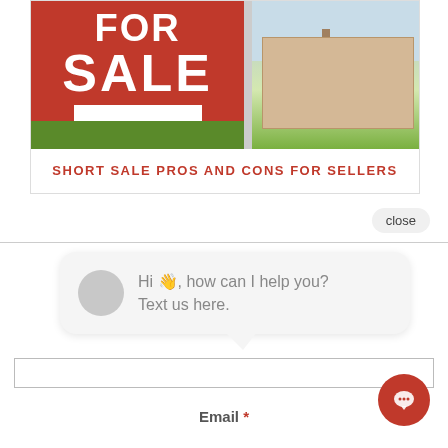[Figure (photo): Two-panel image: left side shows a red FOR SALE sign with white text on green grass background; right side shows a house exterior with palm tree and driveway.]
SHORT SALE PROS AND CONS FOR SELLERS
close
Hi 👋, how can I help you? Text us here.
Email *